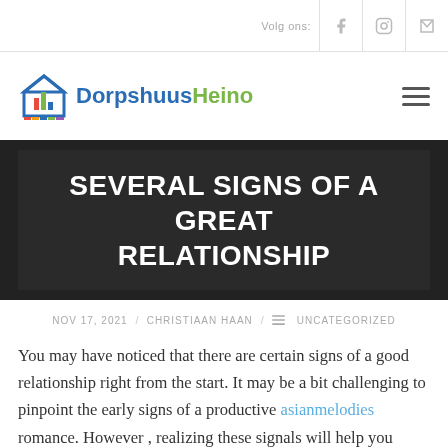Volg ons:
[Figure (logo): DorpshuusHeino logo with house icon and colored bar]
SEVERAL SIGNS OF A GREAT RELATIONSHIP
NOV 17, 2021 / CHRISTIAAN HAAN / UNCATEGORIZED
You may have noticed that there are certain signs of a good relationship right from the start. It may be a bit challenging to pinpoint the early signs of a productive asianmelodies romance. However , realizing these signals will help you make the proper